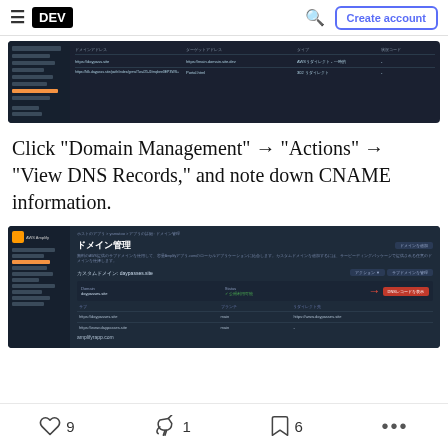DEV | Create account
[Figure (screenshot): AWS Amplify domain management console showing a dark-themed UI with a sidebar navigation and a table listing domain records with columns for domain address, target address, type, and status.]
Click "Domain Management" → "Actions" → "View DNS Records," and note down CNAME information.
[Figure (screenshot): AWS Amplify console showing ドメイン管理 (Domain Management) page with a custom domain and actions menu expanded, with a red arrow pointing to a red-highlighted option for viewing DNS records. Table shows domain entries with status and redirect URLs.]
9  1  6  ...